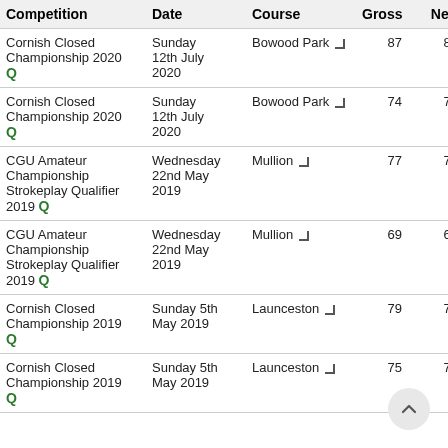| Competition | Date | Course | Gross | Nett | Sford |
| --- | --- | --- | --- | --- | --- |
| Cornish Closed Championship 2020 Q | Sunday 12th July 2020 | Bowood Park | 87 | 86 |  |
| Cornish Closed Championship 2020 Q | Sunday 12th July 2020 | Bowood Park | 74 | 73 |  |
| CGU Amateur Championship Strokeplay Qualifier 2019 Q | Wednesday 22nd May 2019 | Mullion | 77 | 76 |  |
| CGU Amateur Championship Strokeplay Qualifier 2019 Q | Wednesday 22nd May 2019 | Mullion | 69 | 68 |  |
| Cornish Closed Championship 2019 Q | Sunday 5th May 2019 | Launceston | 79 | 78 |  |
| Cornish Closed Championship 2019 Q | Sunday 5th May 2019 | Launceston | 75 | 74 |  |